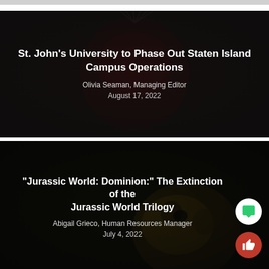[Figure (photo): Dark banner image with St. John's University logo visible as a faint background on a brick wall. White text overlaid with article title, author, and date.]
St. John's University to Phase Out Staten Island Campus Operations
Olivia Seaman, Managing Editor
August 17, 2022
[Figure (photo): Dark banner image with a dimly visible dinosaur skull/fossil in the background. White text overlaid with article title, author, and date.]
“Jurassic World: Dominion:” The Extinction of the Jurassic World Trilogy
Abigail Grieco, Human Resources Manager
July 4, 2022